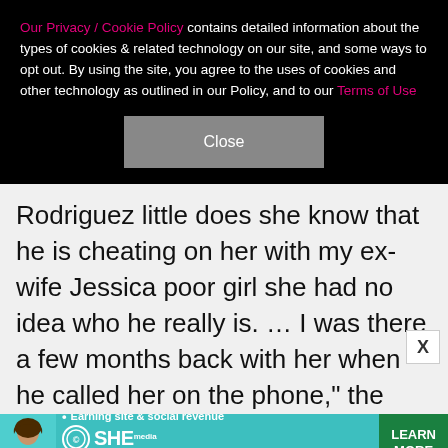Our Privacy / Cookie Policy contains detailed information about the types of cookies & related technology on our site, and some ways to opt out. By using the site, you agree to the uses of cookies and other technology as outlined in our Policy, and to our Terms of Use
Close
Rodriguez little does she know that he is cheating on her with my ex-wife Jessica poor girl she had no idea who he really is. … I was there a few months back with her when he called her on the phone," the former professional baseball player tweeted. He then challenged his fellow former Yankee "to a boxing match or an MMA match anytime you want" and tweeted a phone number for J.Lo to call him "if you want the truth about Alex Rodriquez." He concluded by offering to ta
[Figure (infographic): Advertisement banner for SHE Media Partner Network. Shows a woman's photo on left, bullet point about earning site & social revenue, SHE Media logo, PARTNER NETWORK and BECOME A MEMBER text, and a green LEARN MORE button.]